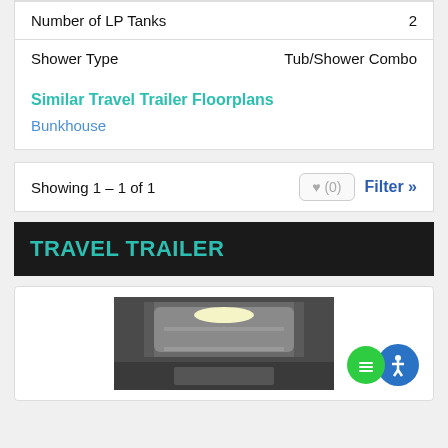|  |  |
| --- | --- |
| Number of LP Tanks | 2 |
| Shower Type | Tub/Shower Combo |
Similar Travel Trailer Floorplans
Bunkhouse
Showing 1 - 1 of 1
Filter »
TRAVEL TRAILER
[Figure (photo): Interior photo of a travel trailer showing bunk beds or living area with overhead lighting]